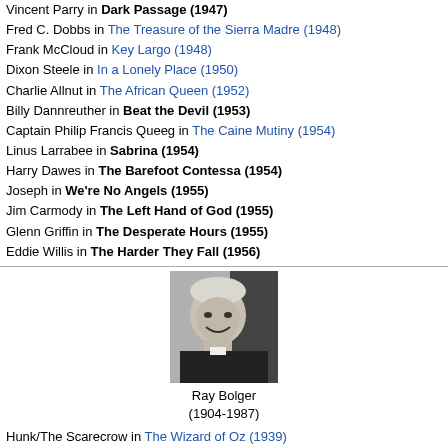Vincent Parry in Dark Passage (1947)
Fred C. Dobbs in The Treasure of the Sierra Madre (1948)
Frank McCloud in Key Largo (1948)
Dixon Steele in In a Lonely Place (1950)
Charlie Allnut in The African Queen (1952)
Billy Dannreuther in Beat the Devil (1953)
Captain Philip Francis Queeg in The Caine Mutiny (1954)
Linus Larrabee in Sabrina (1954)
Harry Dawes in The Barefoot Contessa (1954)
Joseph in We're No Angels (1955)
Jim Carmody in The Left Hand of God (1955)
Glenn Griffin in The Desperate Hours (1955)
Eddie Willis in The Harder They Fall (1956)
[Figure (photo): Black and white photo of Ray Bolger smiling, wearing a suit.]
Ray Bolger
(1904-1987)
Hunk/The Scarecrow in The Wizard of Oz (1939)